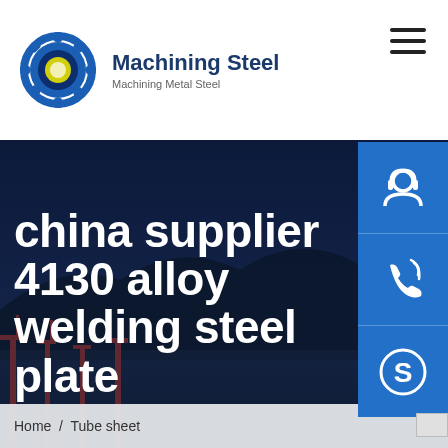Machining Steel — Machining Metal Steel
china supplier 4130 alloy welding steel plate
Home / Tube sheet